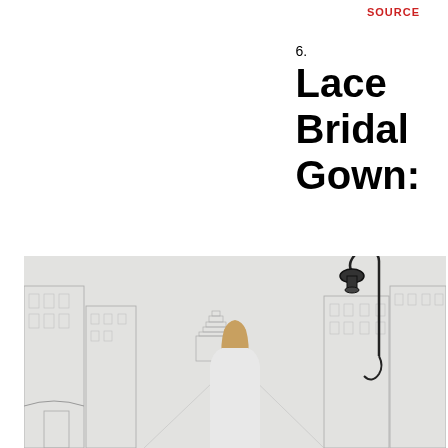SOURCE
6. Lace Bridal Gown:
[Figure (photo): A woman in a lace bridal gown standing in front of a sketched city backdrop with buildings and a decorative street lamp. The background is light grey with pencil-style architectural drawings of city buildings and the Empire State Building visible. The model has long wavy blonde hair.]